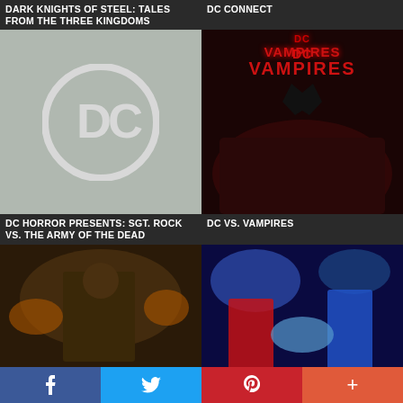DARK KNIGHTS OF STEEL: TALES FROM THE THREE KINGDOMS
DC CONNECT
[Figure (illustration): DC Comics logo on gray background]
[Figure (illustration): DC vs. Vampires comic cover with Batman fighting vampires]
DC HORROR PRESENTS: SGT. ROCK VS. THE ARMY OF THE DEAD
DC VS. VAMPIRES
[Figure (illustration): DC Horror Presents: Sgt. Rock vs. The Army of the Dead comic cover]
[Figure (illustration): DC's Saved by the Bell comic cover]